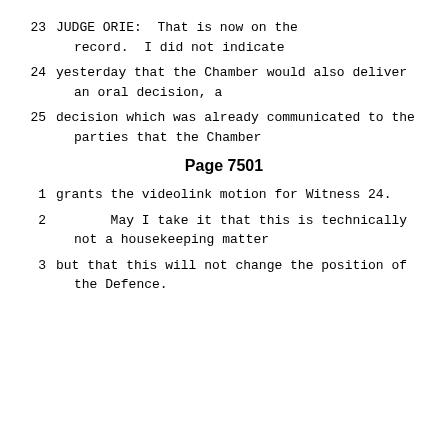23    JUDGE ORIE:  That is now on the record.  I did not indicate
24      yesterday that the Chamber would also deliver an oral decision, a
25      decision which was already communicated to the parties that the Chamber
Page 7501
1      grants the videolink motion for Witness 24.
2              May I take it that this is technically not a housekeeping matter
3      but that this will not change the position of the Defence.